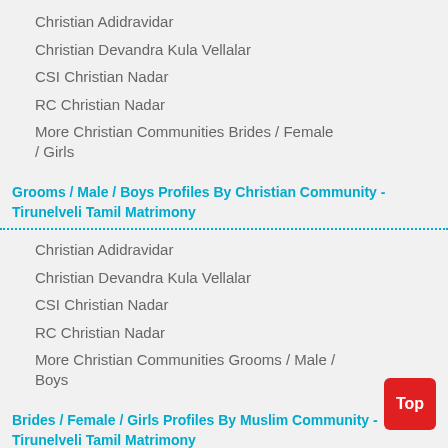Christian Adidravidar
Christian Devandra Kula Vellalar
CSI Christian Nadar
RC Christian Nadar
More Christian Communities Brides / Female / Girls
Grooms / Male / Boys Profiles By Christian Community - Tirunelveli Tamil Matrimony
Christian Adidravidar
Christian Devandra Kula Vellalar
CSI Christian Nadar
RC Christian Nadar
More Christian Communities Grooms / Male / Boys
Brides / Female / Girls Profiles By Muslim Community - Tirunelveli Tamil Matrimony
Muslim-Dhakni
Muslim-Lebbai
Muslim-Rowther
Muslim-Sunni